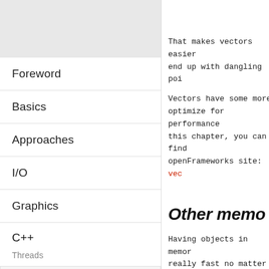Foreword
Basics
Approaches
I/O
Graphics
C++
Threads
Memory in C++
Computer memory and variables
Stack variables, variables in functions vs variables in objects
That makes vectors easier to end up with dangling poi
Vectors have some more optimize for performance this chapter, you can find openFrameworks site: vec
Other memo
Having objects in memory really fast no matter if we since a vector is just an a internally it just needs to